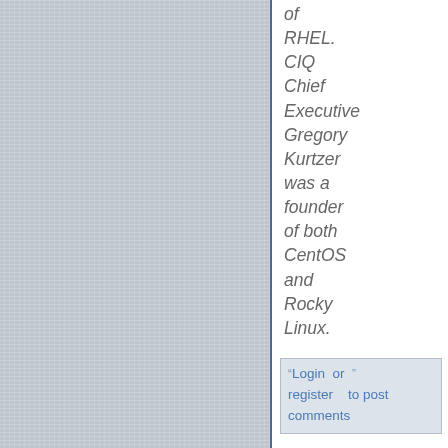[Figure (other): Gray linen-textured background panel occupying the left portion of the page]
of RHEL. CIQ Chief Executive Gregory Kurtzer was a founder of both CentOS and Rocky Linux.
Login or register to post comments
Comment viewing options